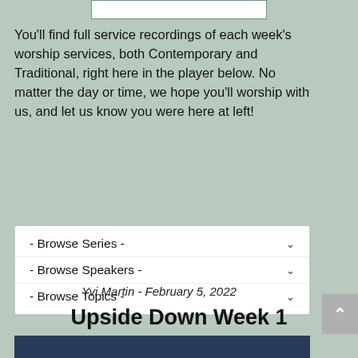[Figure (screenshot): Top white bar element, partially visible UI component]
You'll find full service recordings of each week's worship services, both Contemporary and Traditional, right here in the player below. No matter the day or time, we hope you'll worship with us, and let us know you were here at left!
[Figure (screenshot): Dropdown filter box with three options: Browse Series, Browse Speakers, Browse Topics]
Yvi Martin - February 5, 2022
Upside Down Week 1 (Service)
[Figure (screenshot): Bottom portion of a video thumbnail, dark blue background, partially visible]